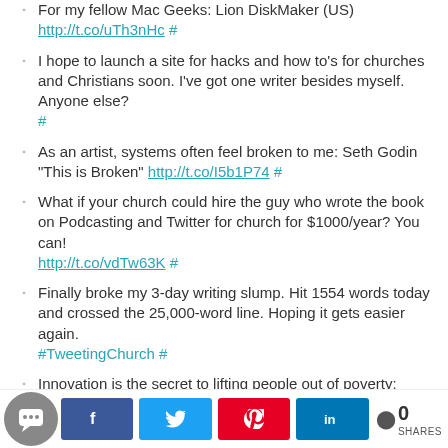For my fellow Mac Geeks: Lion DiskMaker (US) http://t.co/uTh3nHc #
I hope to launch a site for hacks and how to's for churches and Christians soon. I've got one writer besides myself. Anyone else? #
As an artist, systems often feel broken to me: Seth Godin "This is Broken" http://t.co/I5b1P74 #
What if your church could hire the guy who wrote the book on Podcasting and Twitter for church for $1000/year? You can! http://t.co/vdTw63K #
Finally broke my 3-day writing slump. Hit 1554 words today and crossed the 25,000-word line. Hoping it gets easier again. #TweetingChurch #
Innovation is the secret to lifting people out of poverty: William Kamkwamba: How I harnessed the wind http://t.co/FCZCaJ3 #
just got off the phone with @mattmckee of
0 SHARES